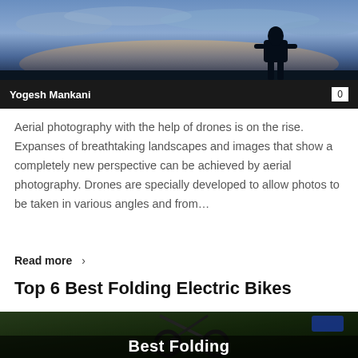[Figure (photo): Sunset/dusk sky with silhouette of a person standing, bluish tones]
Yogesh Mankani
0
Aerial photography with the help of drones is on the rise. Expanses of breathtaking landscapes and images that show a completely new perspective can be achieved by aerial photography. Drones are specially developed to allow photos to be taken in various angles and from…
Read more >
Top 6 Best Folding Electric Bikes
[Figure (photo): Dark image of folding electric bike with text 'Best Folding' overlaid at bottom]